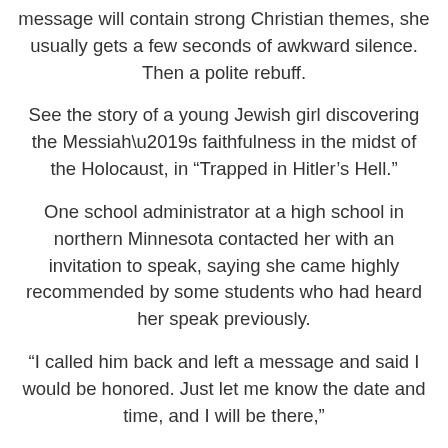message will contain strong Christian themes, she usually gets a few seconds of awkward silence. Then a polite rebuff.
See the story of a young Jewish girl discovering the Messiah’s faithfulness in the midst of the Holocaust, in “Trapped in Hitler’s Hell.”
One school administrator at a high school in northern Minnesota contacted her with an invitation to speak, saying she came highly recommended by some students who had heard her speak previously.
“I called him back and left a message and said I would be honored. Just let me know the date and time, and I will be there,”